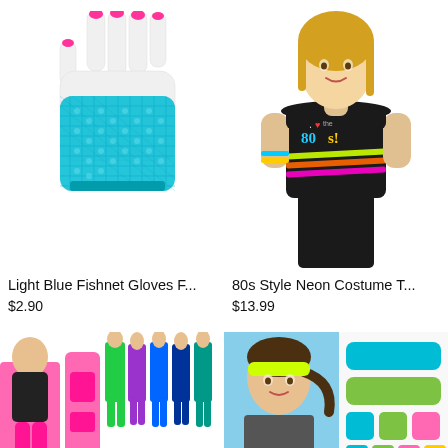[Figure (photo): Light blue fishnet fingerless glove displayed on a white hand mannequin with pink nails]
[Figure (photo): Woman wearing a black 80s style neon costume t-shirt with colorful neon belts and black leggings]
Light Blue Fishnet Gloves F...
$2.90
80s Style Neon Costume T...
$13.99
[Figure (photo): Neon workout headband and wristband set shown with women in colorful workout outfits]
[Figure (photo): Woman wearing yellow headband with teal, lime green, and pink sweatband set displayed on blue background]